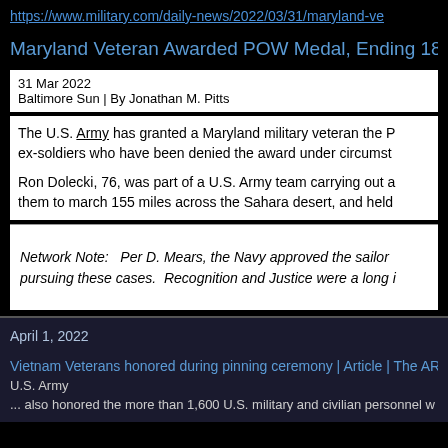https://www.military.com/daily-news/2022/03/31/maryland-ve
Maryland Veteran Awarded POW Medal, Ending 18-Year Bat
31 Mar 2022
Baltimore Sun | By Jonathan M. Pitts
The U.S. Army has granted a Maryland military veteran the P ex-soldiers who have been denied the award under circumst
Ron Dolecki, 76, was part of a U.S. Army team carrying out a them to march 155 miles across the Sahara desert, and held
Network Note:   Per D. Mears, the Navy approved the sailor pursuing these cases.  Recognition and Justice were a long i
April 1, 2022
Vietnam Veterans honored during pinning ceremony | Article | The ARMY
U.S. Army
... also honored the more than 1,600 U.S. military and civilian personnel w